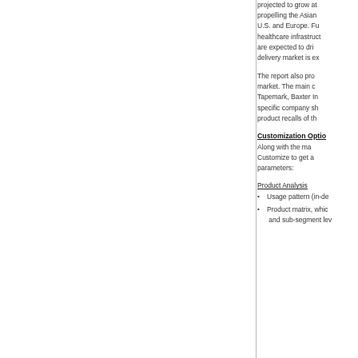projected to grow at propelling the Asian U.S. and Europe. Fu healthcare infrastruct are expected to dri delivery market is ex
The report also pro market. The main c Tapemark, Baxter In specific company sh product recalls of th
Customization Optio
Along with the ma Customize to get a parameters:
Product Analysis
Usage pattern (in-de
Product matrix, whic and sub-segment lev